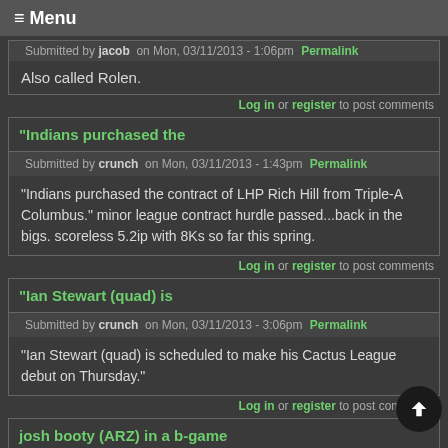☰ Menu
Submitted by jacob on Mon, 03/11/2013 - 1:06pm  Permalink
Also called Rolen.
Log in or register to post comments
"Indians purchased the
Submitted by crunch on Mon, 03/11/2013 - 1:43pm  Permalink
"Indians purchased the contract of LHP Rich Hill from Triple-A Columbus." minor league contract hurdle passed...back in the bigs. scoreless 5.2ip with 8Ks so far this spring.
Log in or register to post comments
"Ian Stewart (quad) is
Submitted by crunch on Mon, 03/11/2013 - 3:06pm  Permalink
"Ian Stewart (quad) is scheduled to make his Cactus League debut on Thursday."
Log in or register to post comments
josh booty (ARZ) in a b-game
Submitted by crunch on Mon, 03/11/2013 - 4:16pm  Permalink